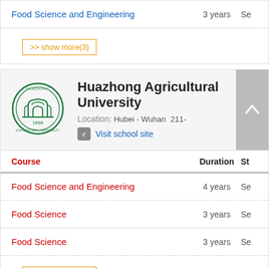Food Science and Engineering — 3 years — Se
>> show more(3)
[Figure (logo): Huazhong Agricultural University circular green seal logo]
Huazhong Agricultural University
Location: Hubei - Wuhan  211-
Visit school site
| Course | Duration | St |
| --- | --- | --- |
| Food Science and Engineering | 4 years | Se |
| Food Science | 3 years | Se |
| Food Science | 3 years | Se |
>> show more(3)